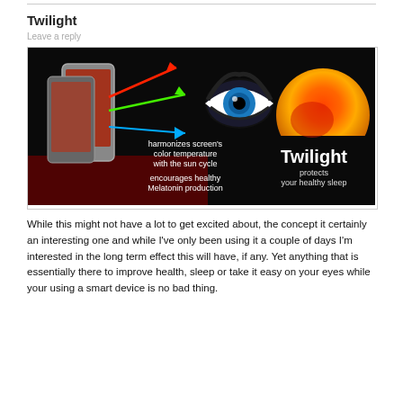Twilight
[Figure (illustration): Promotional banner for the Twilight app on a black background, showing a smartphone with red filter overlay, colored arrows (red, green, blue) pointing toward a stylized eye, with text: 'harmonizes screen's color temperature with the sun cycle' and 'encourages healthy Melatonin production'. Right side shows a sunset globe graphic with text: 'Twilight protects your healthy sleep'.]
While this might not have a lot to get excited about, the concept it certainly an interesting one and while I've only been using it a couple of days I'm interested in the long term effect this will have, if any. Yet anything that is essentially there to improve health, sleep or take it easy on your eyes while your using a smart device is no bad thing.